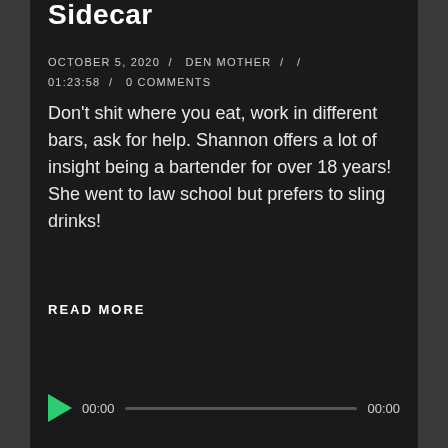Sidecar
OCTOBER 5, 2020  /  DEN MOTHER  /  /  01:23:58  /  0 COMMENTS
Don't shit where you eat, work in different bars, ask for help. Shannon offers a lot of insight being a bartender for over 18 years! She went to law school but prefers to sling drinks!
READ MORE
[Figure (other): Audio player with green play button, time display showing 00:00, a progress bar, and end time 00:00]